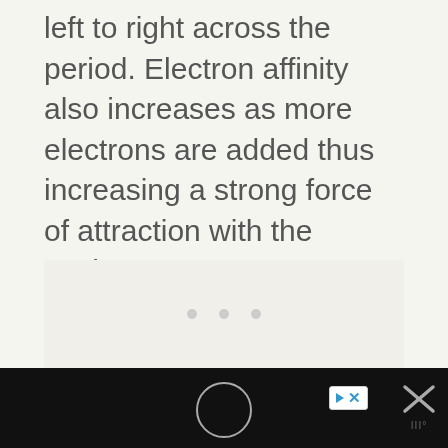left to right across the period. Electron affinity also increases as more electrons are added thus increasing a strong force of attraction with the nucleus.
[Figure (other): Content placeholder area with three small gray dots indicating loading or empty state]
Footer bar with navigation circle, advertisement badge, and close/dismiss button with wordmark